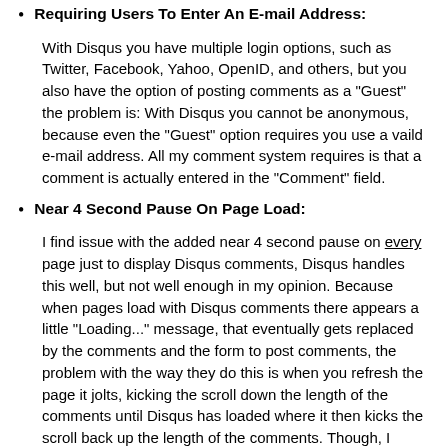Requiring Users To Enter An E-mail Address:
With Disqus you have multiple login options, such as Twitter, Facebook, Yahoo, OpenID, and others, but you also have the option of posting comments as a "Guest" the problem is: With Disqus you cannot be anonymous, because even the "Guest" option requires you use a vaild e-mail address. All my comment system requires is that a comment is actually entered in the "Comment" field.
Near 4 Second Pause On Page Load:
I find issue with the added near 4 second pause on every page just to display Disqus comments, Disqus handles this well, but not well enough in my opinion. Because when pages load with Disqus comments there appears a little "Loading..." message, that eventually gets replaced by the comments and the form to post comments, the problem with the way they do this is when you refresh the page it jolts, kicking the scroll down the length of the comments until Disqus has loaded where it then kicks the scroll back up the length of the comments. Though, I could live with that technical problem (my visitors might not